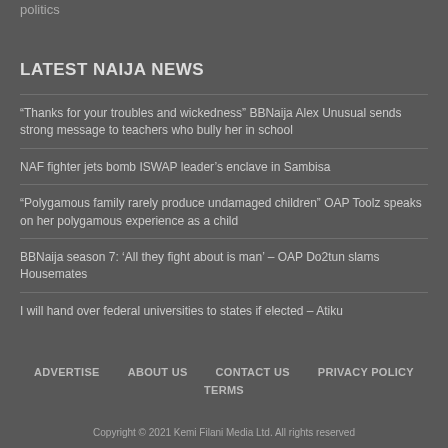politics
LATEST NAIJA NEWS
“Thanks for your troubles and wickedness” BBNaija Alex Unusual sends strong message to teachers who bully her in school
NAF fighter jets bomb ISWAP leader’s enclave in Sambisa
“Polygamous family rarely produce undamaged children” OAP Toolz speaks on her polygamous experience as a child
BBNaija season 7: ‘All they fight about is man’ – OAP Do2tun slams Housemates
I will hand over federal universities to states if elected – Atiku
ADVERTISE   ABOUT US   CONTACT US   PRIVACY POLICY   TERMS
Copyright © 2021 Kemi Filani Media Ltd. All rights reserved